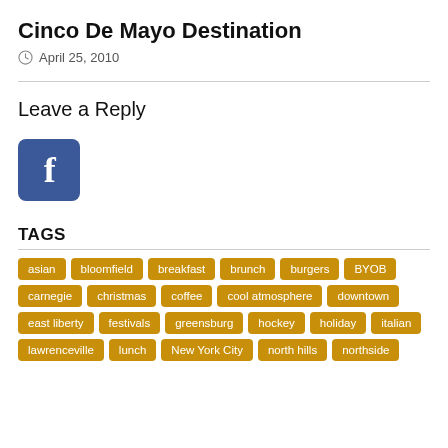Cinco De Mayo Destination
April 25, 2010
Leave a Reply
[Figure (logo): Facebook icon button — blue rounded square with white lowercase f]
TAGS
asian
bloomfield
breakfast
brunch
burgers
BYOB
carnegie
christmas
coffee
cool atmosphere
downtown
east liberty
festivals
greensburg
hockey
holiday
italian
lawrenceville
lunch
New York City
north hills
northside